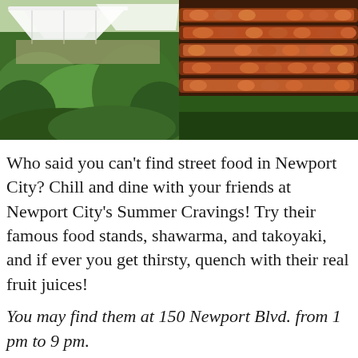[Figure (photo): Two side-by-side photos: left shows an outdoor market with white tent canopies and tropical green plants/foliage in the foreground; right shows rows of skewered grilled meat (shawarma/barbecue) laid out on green banana leaves.]
Who said you can't find street food in Newport City? Chill and dine with your friends at Newport City's Summer Cravings! Try their famous food stands, shawarma, and takoyaki, and if ever you get thirsty, quench with their real fruit juices!
You may find them at 150 Newport Blvd. from 1 pm to 9 pm.
For a safer and happier dining experience, always observe social distancing and maintain safety protocols.